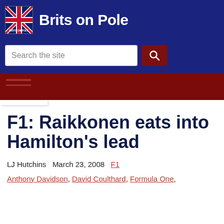Brits on Pole
F1: Raikkonen eats into Hamilton's lead
LJ Hutchins   March 23, 2008   F1
Anthony Davidson, David Coulthard, Formula One,